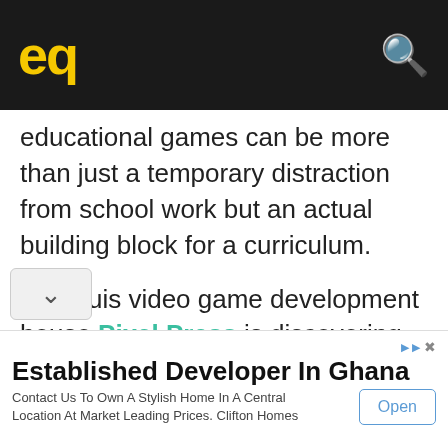eq
educational games can be more than just a temporary distraction from school work but an actual building block for a curriculum.
St. Louis video game development house Pixel Press is discovering new paradigms for integrating video games in the classroom. Bloxels makes building video games as
Established Developer In Ghana
Contact Us To Own A Stylish Home In A Central Location At Market Leading Prices. Clifton Homes